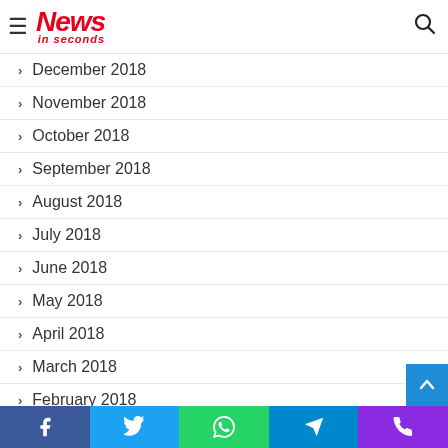News in seconds
December 2018
November 2018
October 2018
September 2018
August 2018
July 2018
June 2018
May 2018
April 2018
March 2018
February 2018
Facebook Twitter WhatsApp Telegram Phone